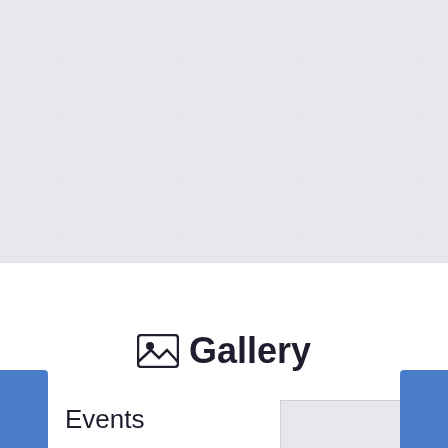[Figure (screenshot): Website screenshot showing a Gallery section with a quilted/diamond pattern background. Contains a centered 'Gallery' heading with image icon, an 'Events' label on the left, a content placeholder box, left blue sidebar tab showing phone number 7839001043, and right blue sidebar tab showing 'Any Query?' text.]
Gallery
Events
7839001043
Any Query ?